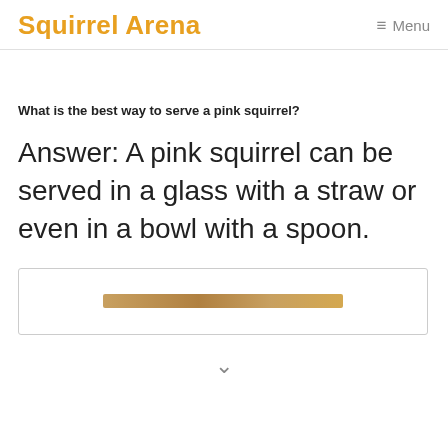Squirrel Arena   ≡ Menu
What is the best way to serve a pink squirrel?
Answer: A pink squirrel can be served in a glass with a straw or even in a bowl with a spoon.
[Figure (photo): A horizontal image stub/thumbnail partially visible at bottom of content area]
∨